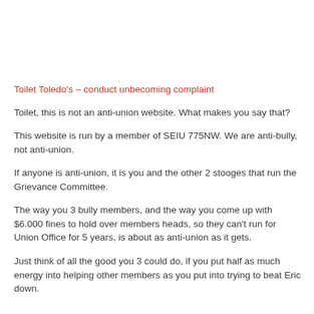Toilet Toledo's – conduct unbecoming complaint
Toilet, this is not an anti-union website. What makes you say that?
This website is run by a member of SEIU 775NW. We are anti-bully, not anti-union.
If anyone is anti-union, it is you and the other 2 stooges that run the Grievance Committee.
The way you 3 bully members, and the way you come up with $6.000 fines to hold over members heads, so they can't run for Union Office for 5 years, is about as anti-union as it gets.
Just think of all the good you 3 could do, if you put half as much energy into helping other members as you put into trying to beat Eric down.